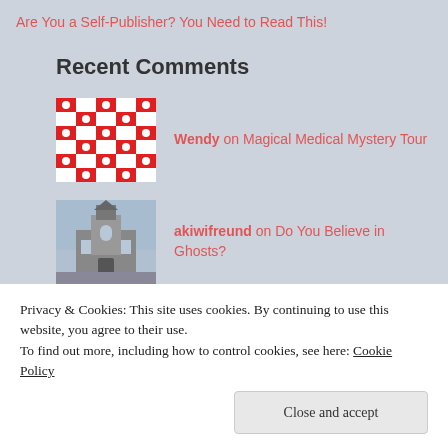Are You a Self-Publisher? You Need to Read This!
Recent Comments
Wendy on Magical Medical Mystery Tour
akiwifreund on Do You Believe in Ghosts?
notontherocks on Do You Believe in Ghosts?
Privacy & Cookies: This site uses cookies. By continuing to use this website, you agree to their use.
To find out more, including how to control cookies, see here: Cookie Policy